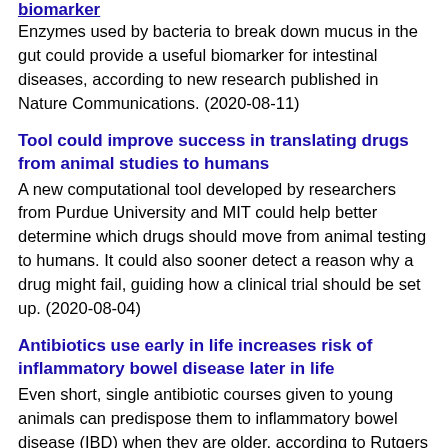biomarker
Enzymes used by bacteria to break down mucus in the gut could provide a useful biomarker for intestinal diseases, according to new research published in Nature Communications. (2020-08-11)
Tool could improve success in translating drugs from animal studies to humans
A new computational tool developed by researchers from Purdue University and MIT could help better determine which drugs should move from animal testing to humans. It could also sooner detect a reason why a drug might fail, guiding how a clinical trial should be set up. (2020-08-04)
Antibiotics use early in life increases risk of inflammatory bowel disease later in life
Even short, single antibiotic courses given to young animals can predispose them to inflammatory bowel disease (IBD) when they are older, according to Rutgers researchers. The